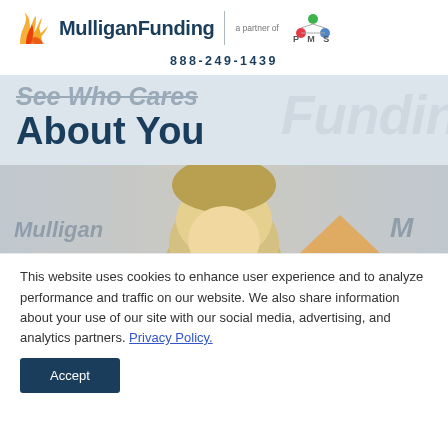[Figure (logo): Mulligan Funding logo with orange flame M icon, text 'MulliganFunding', vertical divider, 'a partner of' text, and PMS network logo with colored dots]
888-249-1439
See Who Cares About You
[Figure (photo): Close-up photo of a blonde woman in front of a Mulligan Funding branded backdrop; orange M logo visible in background]
This website uses cookies to enhance user experience and to analyze performance and traffic on our website. We also share information about your use of our site with our social media, advertising, and analytics partners. Privacy Policy.
Accept